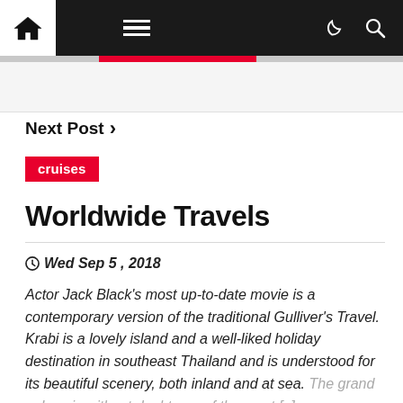Navigation bar with home icon, menu, dark/light mode and search icons
Next Post >
cruises
Worldwide Travels
Wed Sep 5, 2018
Actor Jack Black's most up-to-date movie is a contemporary version of the traditional Gulliver's Travel. Krabi is a lovely island and a well-liked holiday destination in southeast Thailand and is understood for its beautiful scenery, both inland and at sea. The grand palace is without doubt one of the most [..]